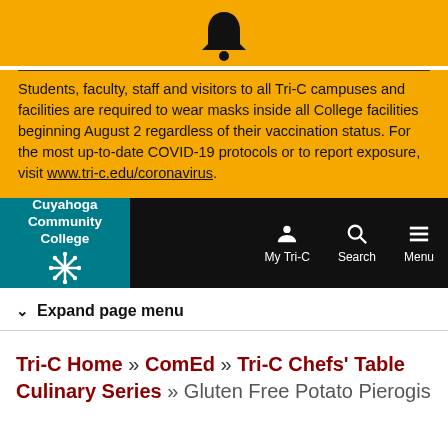[Figure (illustration): Bell icon (notification) centered above the alert text]
Students, faculty, staff and visitors to all Tri-C campuses and facilities are required to wear masks inside all College facilities beginning August 2 regardless of their vaccination status. For the most up-to-date COVID-19 protocols or to report exposure, visit www.tri-c.edu/coronavirus.
[Figure (logo): Cuyahoga Community College logo with teal background, white text and snowflake symbol, with navigation icons for My Tri-C, Search, and Menu on black background]
Expand page menu
Tri-C Home » ComEd » Tri-C Chefs' Table Culinary Series » Gluten Free Potato Pierogis